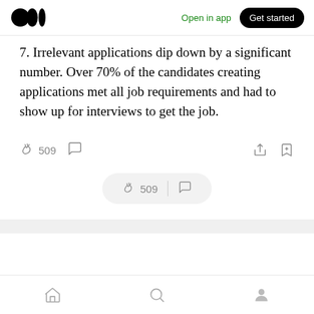Medium app header — Open in app | Get started
7. Irrelevant applications dip down by a significant number. Over 70% of the candidates creating applications met all job requirements and had to show up for interviews to get the job.
509 clap count, comment icon, share icon, bookmark icon
509 | comment (floating pill)
Home | Search | Profile bottom navigation